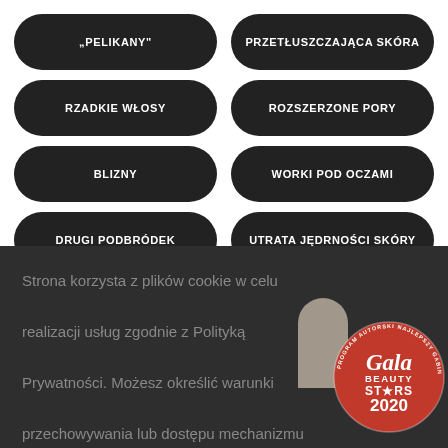"PELIKANY"
PRZETŁUSZCZAJĄCA SKÓRA
RZADKIE WŁOSY
ROZSZERZONE PORY
BLIZNY
WORKI POD OCZAMI
DRUGI PODBRÓDEK
UTRATA JĘDRNOŚCI SKÓRY
CIENIE POD OCZAMI
ZMARSZCZKI
Strona korzysta z plików cookie w celu realizacji usług zgodnie z Polityką Prywatności. Możesz określić warunki przechowywania lub dostępu mechanizmu cookie w Twojej przeglądarce. Settings
[Figure (logo): Gala Beauty Stars 2020 red circular badge]